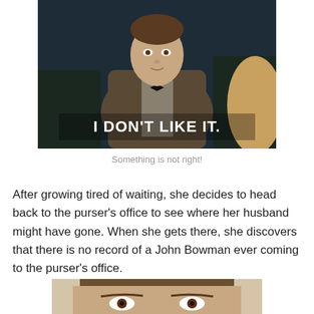[Figure (photo): A man in a brown tweed jacket and bow tie standing outdoors at night with white text overlay reading 'I DON'T LIKE IT.']
Something is not right!
After growing tired of waiting, she decides to head back to the purser's office to see where her husband might have gone. When she gets there, she discovers that there is no record of a John Bowman ever coming to the purser's office.
[Figure (photo): A man's face partially visible at the bottom of the page.]